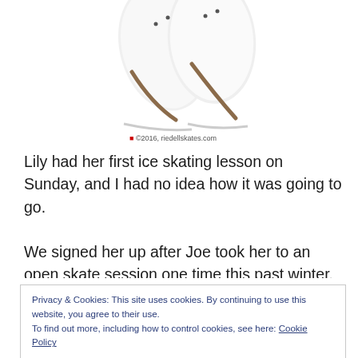[Figure (photo): Two white ice skating boots/figure skates photographed from above against a white background, partially cropped at top]
© 2016, riedellskates.com
Lily had her first ice skating lesson on Sunday, and I had no idea how it was going to go.
We signed her up after Joe took her to an open skate session one time this past winter. At that point, Lily was experiencing some serious cabin fever, and it was ugly outside – so we were scrambling to find a way for her to
Privacy & Cookies: This site uses cookies. By continuing to use this website, you agree to their use.
To find out more, including how to control cookies, see here: Cookie Policy
device for her, she was speeding around the rink like